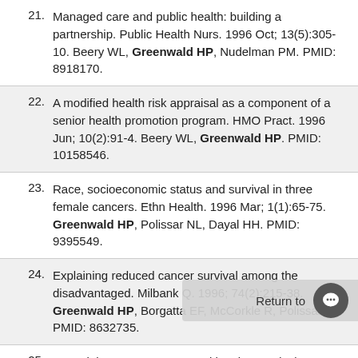21. Managed care and public health: building a partnership. Public Health Nurs. 1996 Oct; 13(5):305-10. Beery WL, Greenwald HP, Nudelman PM. PMID: 8918170.
22. A modified health risk appraisal as a component of a senior health promotion program. HMO Pract. 1996 Jun; 10(2):91-4. Beery WL, Greenwald HP. PMID: 10158546.
23. Race, socioeconomic status and survival in three female cancers. Ethn Health. 1996 Mar; 1(1):65-75. Greenwald HP, Polissar NL, Dayal HH. PMID: 9395549.
24. Explaining reduced cancer survival among the disadvantaged. Milbank Q. 1996; 74(2):215-38. Greenwald HP, Borgatta EF, McCorkle R, Polissar N. PMID: 8632735.
25. Stop violence now. Hosp Health Jul 20; 69(14):62. Nudelman P, Beery WL,